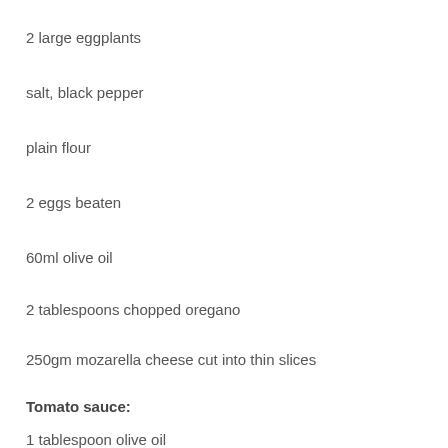2 large eggplants
salt, black pepper
plain flour
2 eggs beaten
60ml olive oil
2 tablespoons chopped oregano
250gm mozarella cheese cut into thin slices
Tomato sauce:
1 tablespoon olive oil